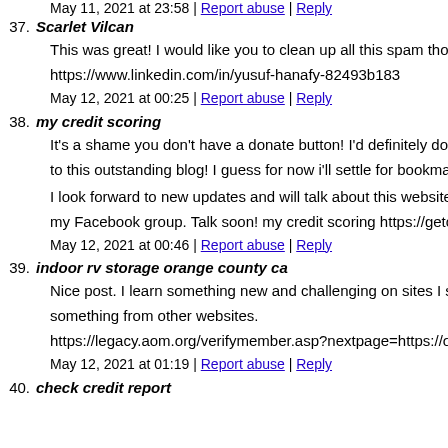May 11, 2021 at 23:58 | Report abuse | Reply
37. Scarlet Vilcan
This was great! I would like you to clean up all this spam thou
https://www.linkedin.com/in/yusuf-hanafy-82493b183
May 12, 2021 at 00:25 | Report abuse | Reply
38. my credit scoring
It's a shame you don't have a donate button! I'd definitely dona to this outstanding blog! I guess for now i'll settle for bookmar
I look forward to new updates and will talk about this website my Facebook group. Talk soon! my credit scoring https://getcr
May 12, 2021 at 00:46 | Report abuse | Reply
39. indoor rv storage orange county ca
Nice post. I learn something new and challenging on sites I stu something from other websites.
https://legacy.aom.org/verifymember.asp?nextpage=https://ocr
May 12, 2021 at 01:19 | Report abuse | Reply
40. check credit report